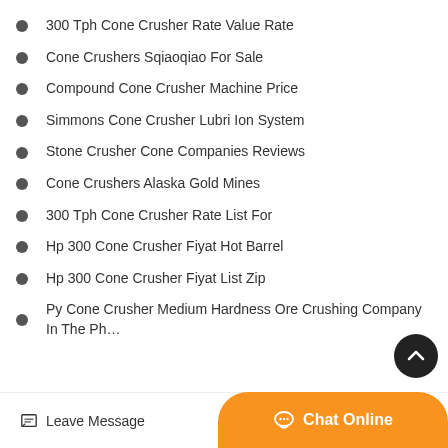300 Tph Cone Crusher Rate Value Rate
Cone Crushers Sqiaoqiao For Sale
Compound Cone Crusher Machine Price
Simmons Cone Crusher Lubri Ion System
Stone Crusher Cone Companies Reviews
Cone Crushers Alaska Gold Mines
300 Tph Cone Crusher Rate List For
Hp 300 Cone Crusher Fiyat Hot Barrel
Hp 300 Cone Crusher Fiyat List Zip
Py Cone Crusher Medium Hardness Ore Crushing Company In The Ph…
Leave Message   Chat Online